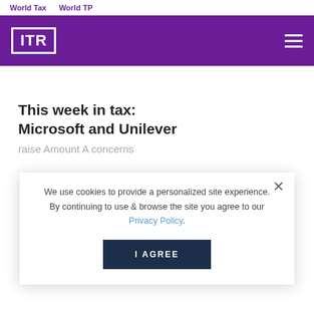World Tax    World TP
[Figure (logo): ITR logo on purple header bar with hamburger menu icon]
This week in tax: Microsoft and Unilever
raise Amount A concerns
We use cookies to provide a personalized site experience. By continuing to use & browse the site you agree to our Privacy Policy.
I AGREE